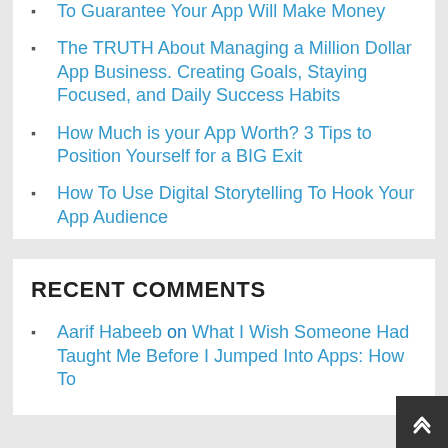To Guarantee Your App Will Make Money
The TRUTH About Managing a Million Dollar App Business. Creating Goals, Staying Focused, and Daily Success Habits
How Much is your App Worth? 3 Tips to Position Yourself for a BIG Exit
How To Use Digital Storytelling To Hook Your App Audience
RECENT COMMENTS
Aarif Habeeb on What I Wish Someone Had Taught Me Before I Jumped Into Apps: How To